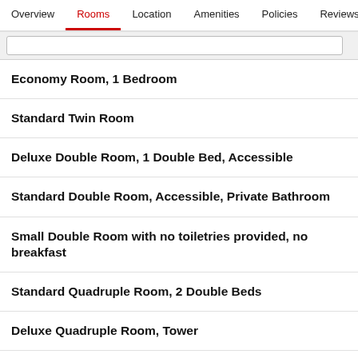Overview | Rooms | Location | Amenities | Policies | Reviews
Economy Room, 1 Bedroom
Standard Twin Room
Deluxe Double Room, 1 Double Bed, Accessible
Standard Double Room, Accessible, Private Bathroom
Small Double Room with no toiletries provided, no breakfast
Standard Quadruple Room, 2 Double Beds
Deluxe Quadruple Room, Tower
Deluxe Triple Room, 1 Bedroom